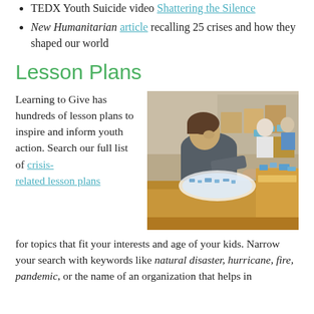TEDX Youth Suicide video Shattering the Silence
New Humanitarian article recalling 25 crises and how they shaped our world
Lesson Plans
Learning to Give has hundreds of lesson plans to inspire and inform youth action. Search our full list of crisis-related lesson plans for topics that fit your interests and age of your kids. Narrow your search with keywords like natural disaster, hurricane, fire, pandemic, or the name of an organization that helps in
[Figure (photo): A teenage boy leaning over a cardboard box, sorting or packing supplies, with other volunteers and boxes visible in the background in what appears to be a warehouse or community center.]